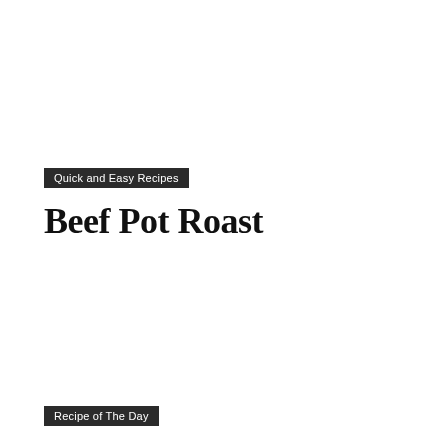Quick and Easy Recipes
Beef Pot Roast
Recipe of The Day